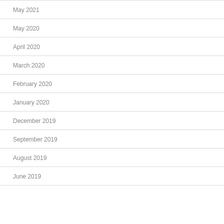May 2021
May 2020
April 2020
March 2020
February 2020
January 2020
December 2019
September 2019
August 2019
June 2019